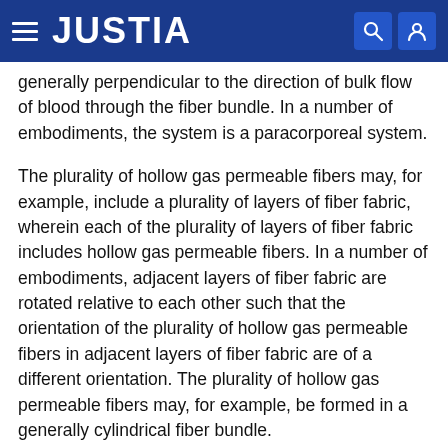JUSTIA
generally perpendicular to the direction of bulk flow of blood through the fiber bundle. In a number of embodiments, the system is a paracorporeal system.
The plurality of hollow gas permeable fibers may, for example, include a plurality of layers of fiber fabric, wherein each of the plurality of layers of fiber fabric includes hollow gas permeable fibers. In a number of embodiments, adjacent layers of fiber fabric are rotated relative to each other such that the orientation of the plurality of hollow gas permeable fibers in adjacent layers of fiber fabric are of a different orientation. The plurality of hollow gas permeable fibers may, for example, be formed in a generally cylindrical fiber bundle.
In a number of embodiments, the mean velocity of